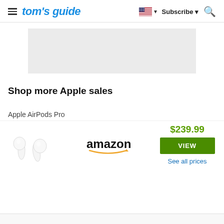tom's guide — Subscribe
[Figure (other): Gray advertisement placeholder rectangle]
Shop more Apple sales
Apple AirPods Pro
[Figure (photo): Apple AirPods Pro white earbuds product image with Amazon retailer logo showing price $239.99 and VIEW button]